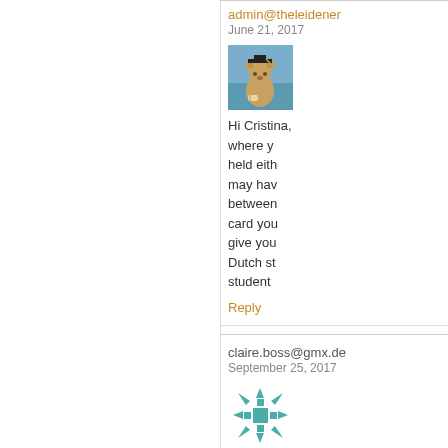admin@theleidener
June 21, 2017
[Figure (photo): Teddy bear wearing graduation cap sitting outdoors near water]
Hi Cristina, where yo held eith may hav between card you give you Dutch st student
Reply
claire.boss@gmx.de
September 25, 2017
[Figure (illustration): Teal/green geometric snowflake pattern avatar]
Hello, I'd also rea Organisation at L to find more spec required diploma the university loo order to get admi etc) or does only